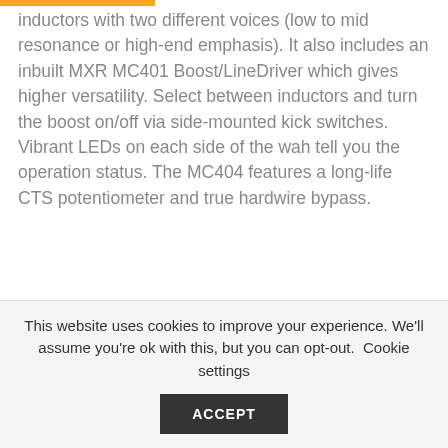inductors with two different voices (low to mid resonance or high-end emphasis). It also includes an inbuilt MXR MC401 Boost/LineDriver which gives higher versatility. Select between inductors and turn the boost on/off via side-mounted kick switches. Vibrant LEDs on each side of the wah tell you the operation status. The MC404 features a long-life CTS potentiometer and true hardwire bypass.
This website uses cookies to improve your experience. We'll assume you're ok with this, but you can opt-out. Cookie settings ACCEPT